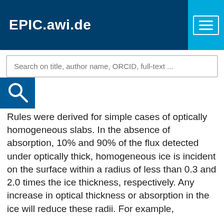EPIC.awi.de
Search on title, author name, ORCID, full-text ...
Rules were derived for simple cases of optically homogeneous slabs. In the absence of absorption, 10% and 90% of the flux detected under optically thick, homogeneous ice is incident on the surface within a radius of less than 0.3 and 2.0 times the ice thickness, respectively. Any increase in optical thickness or absorption in the ice will reduce these radii. For example,